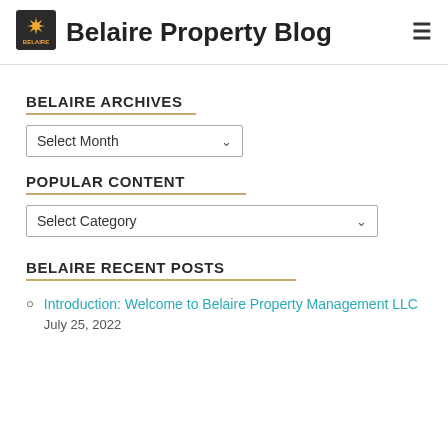Belaire Property Blog
BELAIRE ARCHIVES
Select Month
POPULAR CONTENT
Select Category
BELAIRE RECENT POSTS
Introduction: Welcome to Belaire Property Management LLC  July 25, 2022